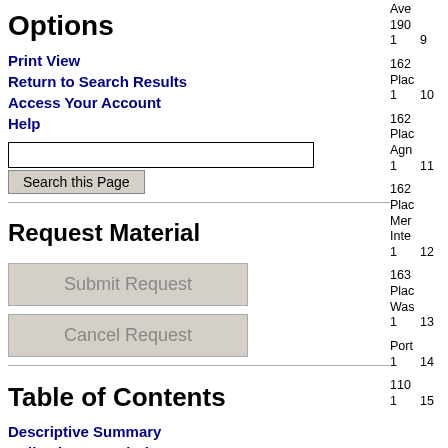Options
Print View
Return to Search Results
Access Your Account
Help
Request Material
Submit Request
Cancel Request
Table of Contents
Descriptive Summary
Collection Description
Administrative Information
|  |  | Description |
| --- | --- | --- |
|  |  | Ave
190
Pete |
| 1 | 9 | Pete |
|  |  | 162
Plac
SJ w |
| 1 | 10 | SJ w |
|  |  | 162
Plac
Agn
hou |
| 1 | 11 | hou |
|  |  | 162
Plac
Mer
Inte
prop |
| 1 | 12 | prop |
|  |  | 163
Plac
Was
Mer |
| 1 | 13 | Mer |
|  |  | Port
Gos |
| 1 | 14 | Gos |
|  |  | 110
Stre |
| 1 | 15 | Stre |
| 1 | 16 | 001 |